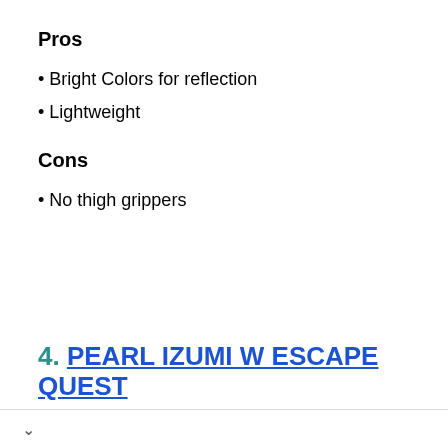Pros
• Bright Colors for reflection
• Lightweight
Cons
• No thigh grippers
4. PEARL IZUMI W ESCAPE QUEST